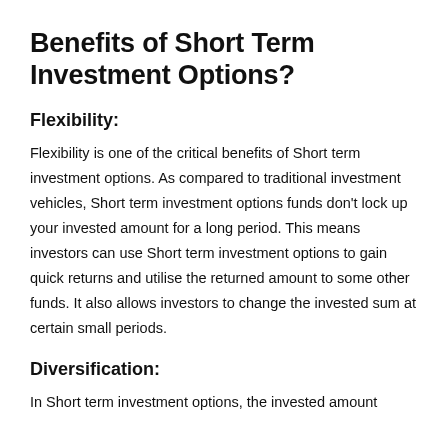Benefits of Short Term Investment Options?
Flexibility:
Flexibility is one of the critical benefits of Short term investment options. As compared to traditional investment vehicles, Short term investment options funds don't lock up your invested amount for a long period. This means investors can use Short term investment options to gain quick returns and utilise the returned amount to some other funds. It also allows investors to change the invested sum at certain small periods.
Diversification:
In Short term investment options, the invested amount...